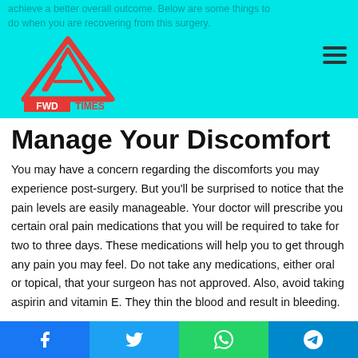achieve a better overall outcome. Below are some things to do when you are recovering from this surgery.
[Figure (logo): FWD TIMES logo with red triangle/mountain icon and FWD TIMES text]
Manage Your Discomfort
You may have a concern regarding the discomforts you may experience post-surgery. But you'll be surprised to notice that the pain levels are easily manageable. Your doctor will prescribe you certain oral pain medications that you will be required to take for two to three days. These medications will help you to get through any pain you may feel. Do not take any medications, either oral or topical, that your surgeon has not approved. Also, avoid taking aspirin and vitamin E. They thin the blood and result in bleeding.
Take Adequate Rest